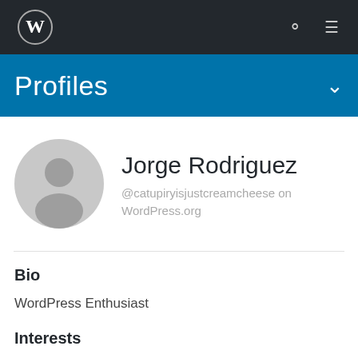[Figure (screenshot): WordPress admin top navigation bar with WordPress logo on left, search icon and hamburger menu on right, dark background]
Profiles
[Figure (photo): Generic grey avatar/user icon placeholder image]
Jorge Rodriguez
@catupiryisjustcreamcheese on WordPress.org
Bio
WordPress Enthusiast
Interests